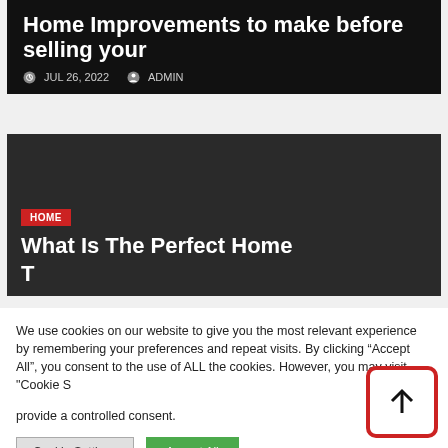Home Improvements to make before selling your
JUL 26, 2022  ADMIN
[Figure (screenshot): Dark card with HOME badge and partial title 'What Is The Perfect Home T...']
We use cookies on our website to give you the most relevant experience by remembering your preferences and repeat visits. By clicking “Accept All”, you consent to the use of ALL the cookies. However, you may visit "Cookie Settings" to provide a controlled consent.
Cookie Settings  Accept All